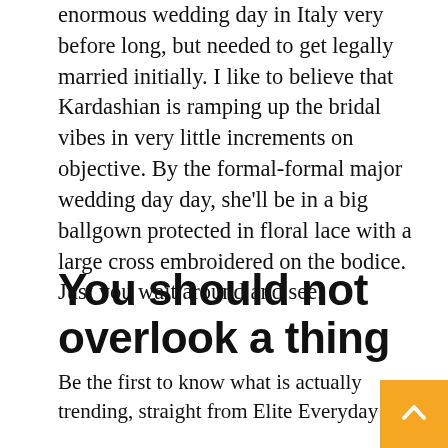enormous wedding day in Italy very before long, but needed to get legally married initially. I like to believe that Kardashian is ramping up the bridal vibes in very little increments on objective. By the formal-formal major wedding day day, she'll be in a big ballgown protected in floral lace with a large cross embroidered on the bodice. Just you wait around and see.
You should not overlook a thing
Be the first to know what is actually trending, straight from Elite Everyday
Tags: A Deeper Fashion, Amaxon Fashion Iphone Cases, Black Fashion Model Clipart Free, Cute Boys Fashion Jackets, Deha Italian Fashion, Digital Fashion Design Online Free, Doub Jacket Street Fashion, Fashion Couture Accounting, Fashi Handbags And Purses, Fashion Industry Executives, Fashion